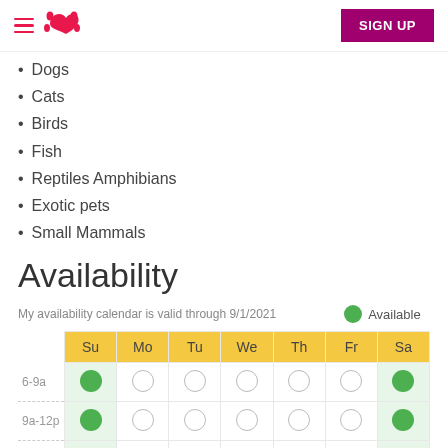Rover — SIGN UP
Dogs
Cats
Birds
Fish
Reptiles Amphibians
Exotic pets
Small Mammals
Availability
My availability calendar is valid through 9/1/2021   ● Available
|  | Su | Mo | Tu | We | Th | Fr | Sa |
| --- | --- | --- | --- | --- | --- | --- | --- |
| 6-9a | ● | ○ | ○ | ○ | ○ | ○ | ● |
| 9a-12p | ● | ○ | ○ | ○ | ○ | ○ | ● |
| 12-3p | ● | ○ | ○ | ○ | ○ | ○ | ● |